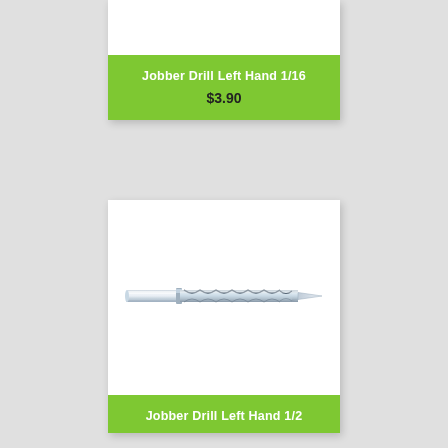Jobber Drill Left Hand 1/16
$3.90
[Figure (photo): A silver/chrome jobber drill bit with spiral flutes, left hand configuration, approximately 1/2 inch size, shown horizontally against a white background.]
Jobber Drill Left Hand 1/2